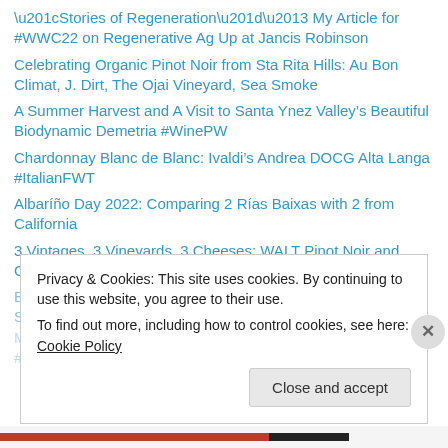“Stories of Regeneration”– My Article for #WWC22 on Regenerative Ag Up at Jancis Robinson
Celebrating Organic Pinot Noir from Sta Rita Hills: Au Bon Climat, J. Dirt, The Ojai Vineyard, Sea Smoke
A Summer Harvest and A Visit to Santa Ynez Valley’s Beautiful Biodynamic Demetria #WinePW
Chardonnay Blanc de Blanc: Ivaldi’s Andrea DOCG Alta Langa #ItalianFWT
Albaríño Day 2022: Comparing 2 Rías Baixas with 2 from California
3 Vintages, 3 Vineyards, 3 Cheeses: WALT Pinot Noir and Cypress Grove Winning Pairings for Picnics
Burning Man 2022: Waking Dreams, Secretly Abandoned Spaces, Minstrel Grampa, and a Fox in the Hen House #WorldWineTravel
Privacy & Cookies: This site uses cookies. By continuing to use this website, you agree to their use.
To find out more, including how to control cookies, see here: Cookie Policy
Close and accept